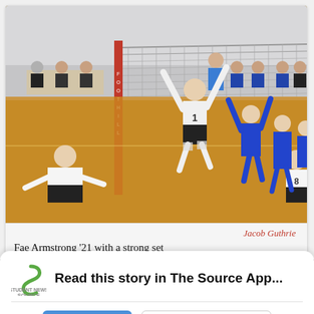[Figure (photo): Volleyball game action shot: players in white/maroon uniforms (home team) and blue uniforms (visiting team) competing at the net in an indoor gymnasium. A player in white uniform #1 is jumping with arms raised for a strong set. Spectators and a referee are visible in the background. A red 'Foothill' pole is visible near the net.]
Jacob Guthrie
Fae Armstrong '21 with a strong set
Read this story in The Source App...
Open App   Continue in browser